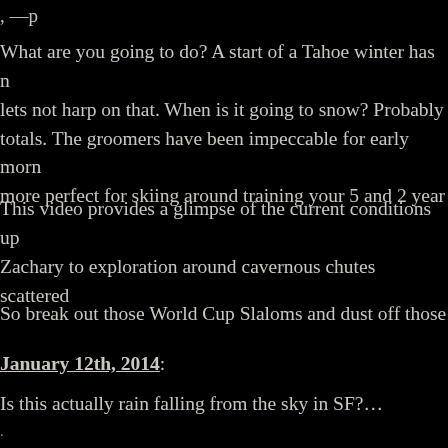, —p
What are you going to do? A start of a Tahoe winter has n lets not harp on that. When is it going to snow? Probably totals. The groomers have been impeccable for early morn more perfect for skiing around training your 5 and 2 year
This video provides a glimpse of the current conditions up Zachary to exploration around cavernous chutes scattered
So break out those World Cup Slaloms and dust off those
January 12th, 2014:
Is this actually rain falling from the sky in SF?…
.